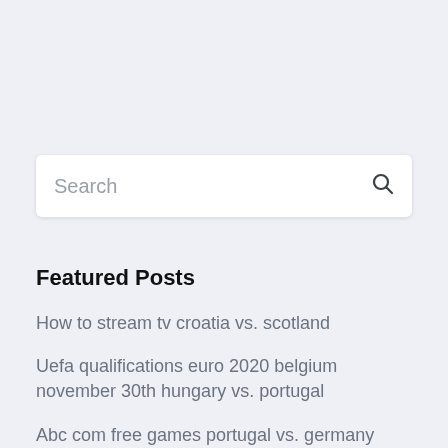Search
Featured Posts
How to stream tv croatia vs. scotland
Uefa qualifications euro 2020 belgium november 30th hungary vs. portugal
Abc com free games portugal vs. germany
Portugal euro 2020 tickets france vs. germany